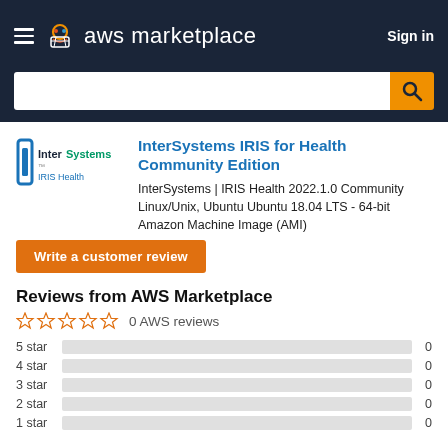aws marketplace  Sign in
[Figure (logo): InterSystems IRIS Health logo]
InterSystems IRIS for Health Community Edition
InterSystems | IRIS Health 2022.1.0 Community
Linux/Unix, Ubuntu Ubuntu 18.04 LTS - 64-bit Amazon Machine Image (AMI)
Write a customer review
Reviews from AWS Marketplace
0 AWS reviews
| Rating | Bar | Count |
| --- | --- | --- |
| 5 star |  | 0 |
| 4 star |  | 0 |
| 3 star |  | 0 |
| 2 star |  | 0 |
| 1 star |  | 0 |